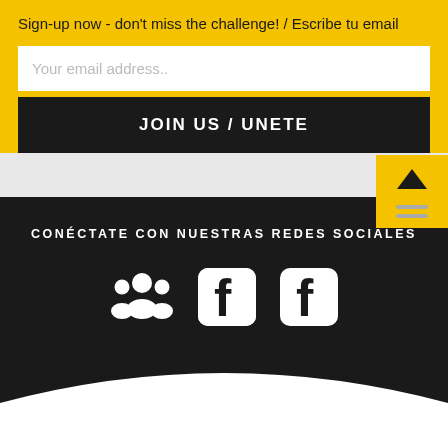Sign-up now - don't miss the challenge! / Escribe tu email
Your email address..
JOIN US / UNETE
CONÉCTATE CON NUESTRAS REDES SOCIALES
[Figure (infographic): Three social media icons: a group/community icon and two Facebook icons, displayed in white on a dark background]